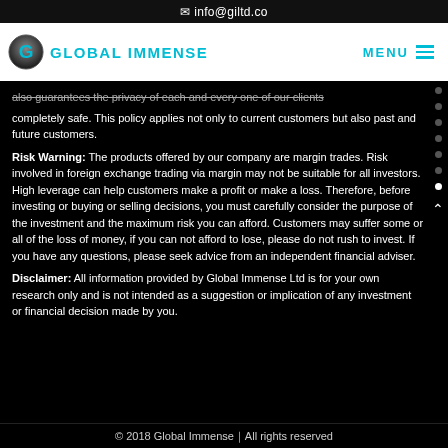✉ info@giltd.co
[Figure (logo): Global Immense logo with stylized G icon and GLOBAL IMMENSE text in cyan, with MENU navigation button]
also guarantees the privacy of each and every one of our clients completely safe. This policy applies not only to current customers but also past and future customers.
Risk Warning: The products offered by our company are margin trades. Risk involved in foreign exchange trading via margin may not be suitable for all investors. High leverage can help customers make a profit or make a loss. Therefore, before investing or buying or selling decisions, you must carefully consider the purpose of the investment and the maximum risk you can afford. Customers may suffer some or all of the loss of money, if you can not afford to lose, please do not rush to invest. If you have any questions, please seek advice from an independent financial adviser.
Disclaimer: All information provided by Global Immense Ltd is for your own research only and is not intended as a suggestion or implication of any investment or financial decision made by you.
© 2018 Global Immense｜All rights reserved